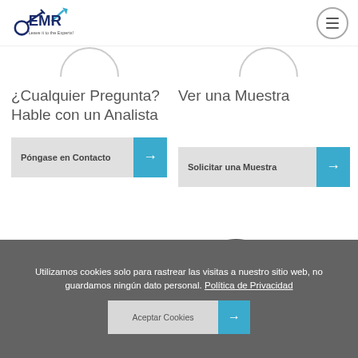[Figure (logo): EMR Expert Market Research logo with tagline Leave it to the Experts!]
¿Cualquier Pregunta? Hable con un Analista
Póngase en Contacto →
Ver una Muestra
Solicitar una Muestra →
[Figure (illustration): Circular refresh/reload icon (dark grey arrow circle)]
Utilizamos cookies solo para rastrear las visitas a nuestro sitio web, no guardamos ningún dato personal. Política de Privacidad
Aceptar Cookies →